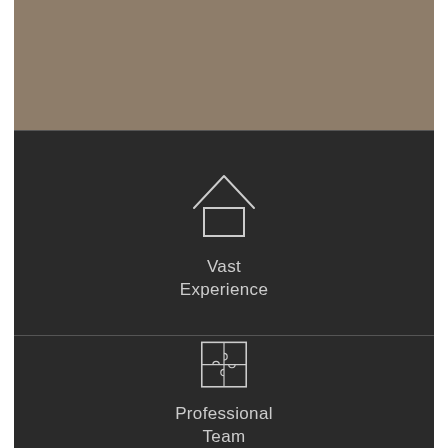[Figure (illustration): Tan/brown colored rectangle banner area at top]
[Figure (illustration): Dark panel with outline house icon above text 'Vast Experience']
Vast
Experience
[Figure (illustration): Dark panel with outline puzzle piece icon above text 'Professional Team']
Professional
Team